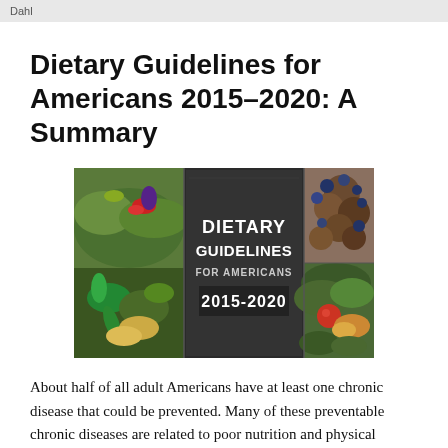Dahl
Dietary Guidelines for Americans 2015–2020: A Summary
[Figure (photo): Dietary Guidelines for Americans 2015-2020 cover image showing three panels: vegetables/salad on left, dark chalkboard with white text 'DIETARY GUIDELINES FOR AMERICANS 2015-2020' in center, and blueberries/crackers on upper right with salad/chicken on lower right.]
About half of all adult Americans have at least one chronic disease that could be prevented. Many of these preventable chronic diseases are related to poor nutrition and physical inactivity. The goal